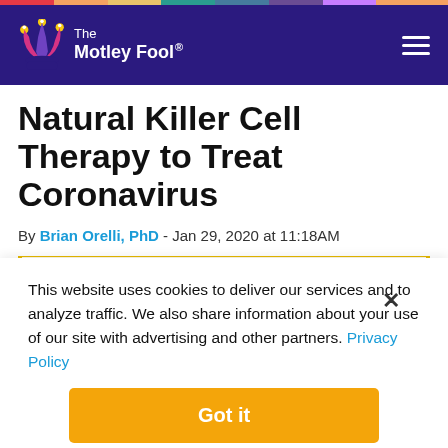[Figure (logo): The Motley Fool logo with jester hat on dark purple navigation bar]
Natural Killer Cell Therapy to Treat Coronavirus
By Brian Orelli, PhD - Jan 29, 2020 at 11:18AM
You're reading a free article with opinions that may differ…
This website uses cookies to deliver our services and to analyze traffic. We also share information about your use of our site with advertising and other partners. Privacy Policy
Got it
Cookie Settings